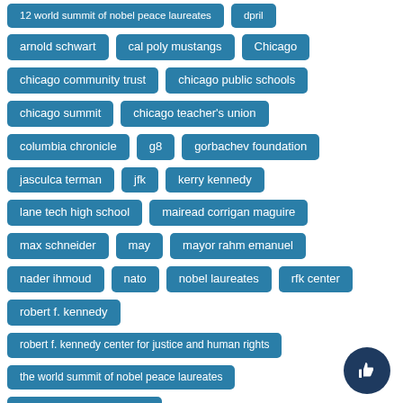12 world summit of nobel peace laureates
dpril
arnold schwart
cal poly mustangs
Chicago
chicago community trust
chicago public schools
chicago summit
chicago teacher's union
columbia chronicle
g8
gorbachev foundation
jasculca terman
jfk
kerry kennedy
lane tech high school
mairead corrigan maguire
max schneider
may
mayor rahm emanuel
nader ihmoud
nato
nobel laureates
rfk center
robert f. kennedy
robert f. kennedy center for justice and human rights
the world summit of nobel peace laureates
university of illinois at chicago